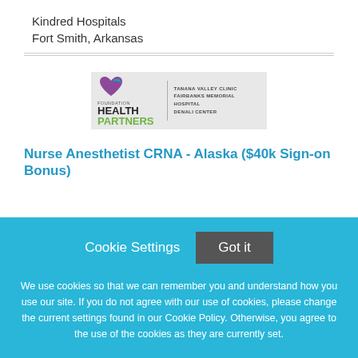Kindred Hospitals
Fort Smith, Arkansas
[Figure (logo): Foundation Health Partners logo with heart icon, text reading FOUNDATION HEALTH PARTNERS and TANANA VALLEY CLINIC, FAIRBANKS MEMORIAL HOSPITAL, DENALI CENTER]
Nurse Anesthetist CRNA - Alaska ($40k Sign-on Bonus)
Cookie Settings  Got it
We use cookies so that we can remember you and understand how you use our site. If you do not agree with our use of cookies, please change the current settings found in our Cookie Policy. Otherwise, you agree to the use of the cookies as they are currently set.